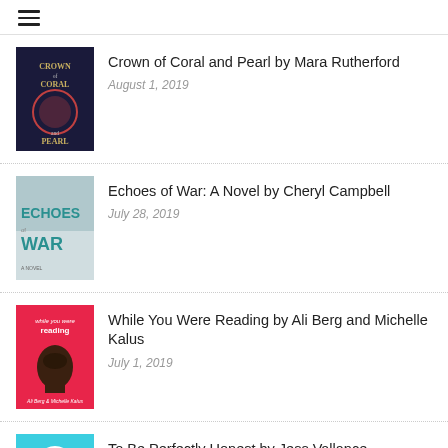☰
Crown of Coral and Pearl by Mara Rutherford
August 1, 2019
Echoes of War: A Novel by Cheryl Campbell
July 28, 2019
While You Were Reading by Ali Berg and Michelle Kalus
July 1, 2019
To Be Perfectly Honest by Jess Vallance
June 26, 2019